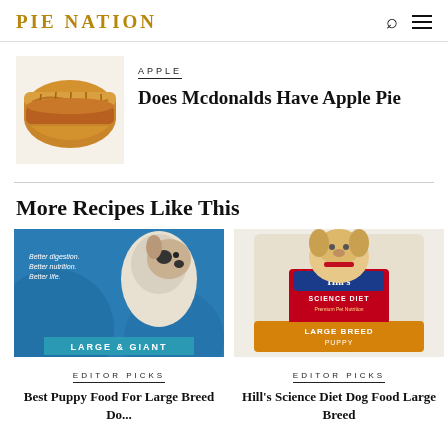PIE NATION
APPLE
Does Mcdonalds Have Apple Pie
[Figure (photo): Apple pie pastry / turnover image]
More Recipes Like This
[Figure (photo): Dog food bag with large Great Dane dog, blue background, text LARGE & GIANT]
EDITOR PICKS
Best Puppy Food For Large Breed Dogs
[Figure (photo): Hill's Science Diet dog food bag with golden retriever puppy, LARGE BREED PUPPY]
EDITOR PICKS
Hill's Science Diet Dog Food Large Breed